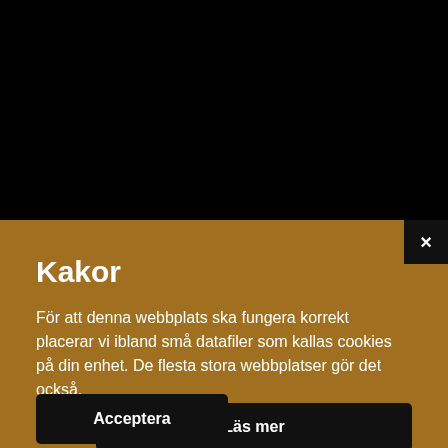[Figure (screenshot): Black area representing a darkened webpage background]
Kakor
För att denna webbplats ska fungera korrekt placerar vi ibland små datafiler som kallas cookies på din enhet. De flesta stora webbplatser gör det också.
Acceptera
Läs mer